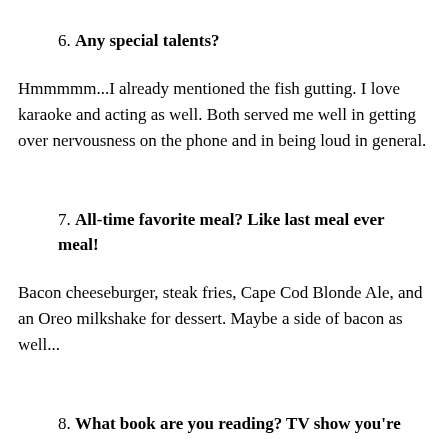6. Any special talents?
Hmmmmm...I already mentioned the fish gutting. I love karaoke and acting as well. Both served me well in getting over nervousness on the phone and in being loud in general.
7. All-time favorite meal? Like last meal ever meal!
Bacon cheeseburger, steak fries, Cape Cod Blonde Ale, and an Oreo milkshake for dessert. Maybe a side of bacon as well...
8. What book are you reading? TV show you're